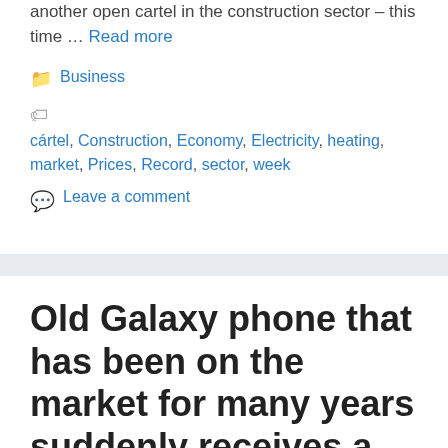another open cartel in the construction sector – this time … Read more
Business
cártel, Construction, Economy, Electricity, heating, market, Prices, Record, sector, week
Leave a comment
Old Galaxy phone that has been on the market for many years suddenly receives a firmware update- ePrice.HK